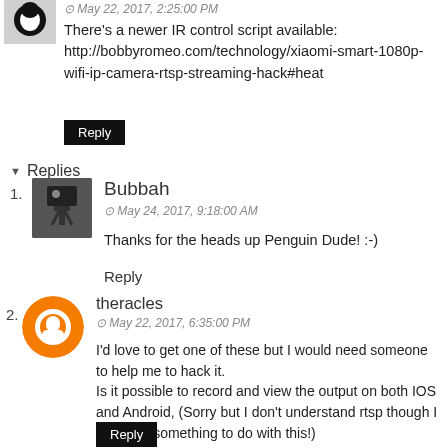May 22, 2017, 2:25:00 PM
There's a newer IR control script available: http://bobbyromeo.com/technology/xiaomi-smart-1080p-wifi-ip-camera-rtsp-streaming-hack#heat
Reply
Replies
Bubbah
May 24, 2017, 9:18:00 AM
Thanks for the heads up Penguin Dude! :-)
Reply
theracles
May 22, 2017, 6:35:00 PM
I'd love to get one of these but I would need someone to help me to hack it. Is it possible to record and view the output on both IOS and Android, (Sorry but I don't understand rtsp though I know it's something to do with this!)
Reply